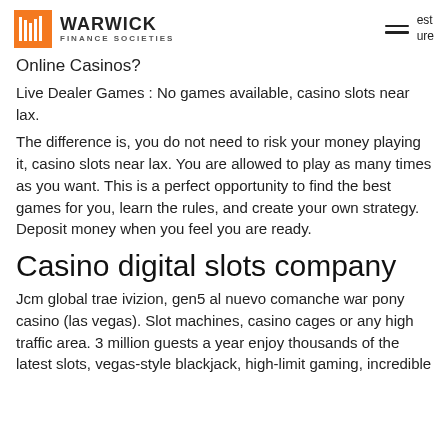WARWICK FINANCE SOCIETIES
Online Casinos?
Live Dealer Games : No games available, casino slots near lax.
The difference is, you do not need to risk your money playing it, casino slots near lax. You are allowed to play as many times as you want. This is a perfect opportunity to find the best games for you, learn the rules, and create your own strategy. Deposit money when you feel you are ready.
Casino digital slots company
Jcm global trae ivizion, gen5 al nuevo comanche war pony casino (las vegas). Slot machines, casino cages or any high traffic area. 3 million guests a year enjoy thousands of the latest slots, vegas-style blackjack, high-limit gaming, incredible